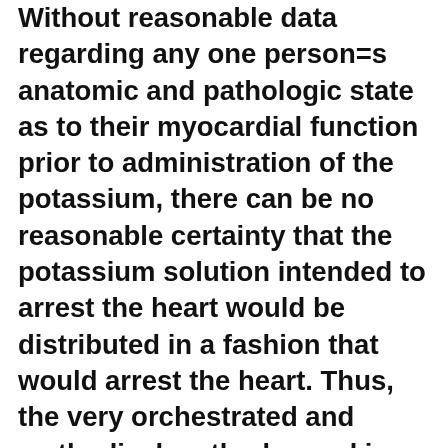Without reasonable data regarding any one person=s anatomic and pathologic state as to their myocardial function prior to administration of the potassium, there can be no reasonable certainty that the potassium solution intended to arrest the heart would be distributed in a fashion that would arrest the heart. Thus, the very orchestrated and methodical methods used in surgery should not be thought of as optimizing the arrest of the heart, but should be considered to be necessary as the only reasonable means of ensuring that the heart is arrested. If the heart could be arrested by intravenous objections, cardiac surgery today would be a very different